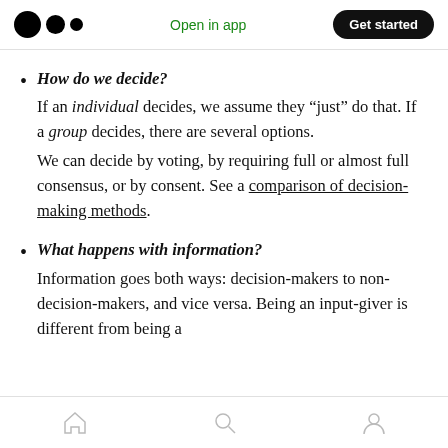Open in app | Get started
How do we decide?
If an individual decides, we assume they “just” do that. If a group decides, there are several options.
We can decide by voting, by requiring full or almost full consensus, or by consent. See a comparison of decision-making methods.
What happens with information?
Information goes both ways: decision-makers to non-decision-makers, and vice versa. Being an input-giver is different from being a
Home | Search | Profile